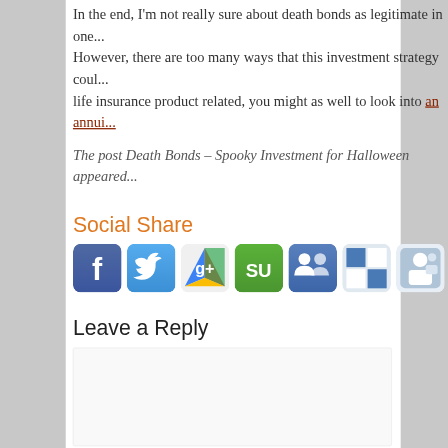In the end, I'm not really sure about death bonds as legitimate in one... However, there are too many ways that this investment strategy could... life insurance product related, you might as well to look into an annui...
The post Death Bonds – Spooky Investment for Halloween appeared...
Social Share
[Figure (infographic): Row of social sharing icon buttons: Facebook, Twitter, Google+, StumbleUpon, Friendfeed, Delicious/Checkerboard, ManageFlitter, Reddit]
Leave a Reply
[Figure (screenshot): Empty comment text area input box]